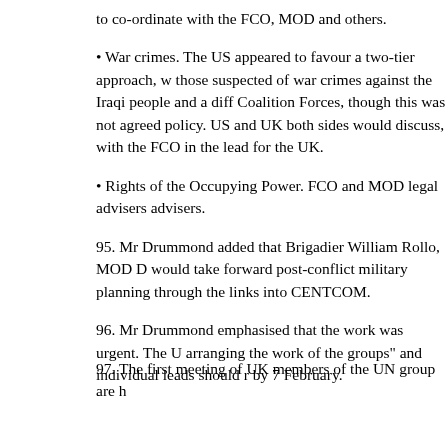to co-ordinate with the FCO, MOD and others.
War crimes. The US appeared to favour a two-tier approach, w those suspected of war crimes against the Iraqi people and a diff Coalition Forces, though this was not agreed policy. US and UK both sides would discuss, with the FCO in the lead for the UK.
Rights of the Occupying Power. FCO and MOD legal advisers advisers.
95. Mr Drummond added that Brigadier William Rollo, MOD D would take forward post-conflict military planning through the links into CENTCOM.
96. Mr Drummond emphasised that the work was urgent. The U arranging the work of the groups" and individual leads should r by 7 February.
97. The first meeting of UK members of the UN group are h